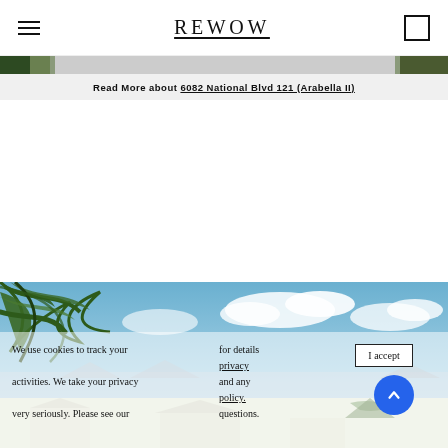REWOW
Read More about 6082 National Blvd 121 (Arabella II)
[Figure (photo): Sky and palm tree foliage photo banner, blue sky with white clouds and green palm leaves in upper left]
We use cookies to track your activities. We take your privacy very seriously. Please see our for details privacy and any policy. and any questions.